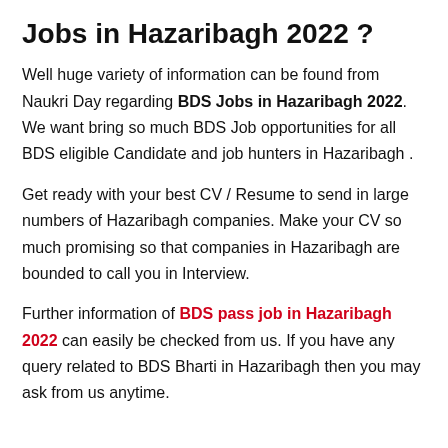Jobs in Hazaribagh 2022 ?
Well huge variety of information can be found from Naukri Day regarding BDS Jobs in Hazaribagh 2022. We want bring so much BDS Job opportunities for all BDS eligible Candidate and job hunters in Hazaribagh .
Get ready with your best CV / Resume to send in large numbers of Hazaribagh companies. Make your CV so much promising so that companies in Hazaribagh are bounded to call you in Interview.
Further information of BDS pass job in Hazaribagh 2022 can easily be checked from us. If you have any query related to BDS Bharti in Hazaribagh then you may ask from us anytime.